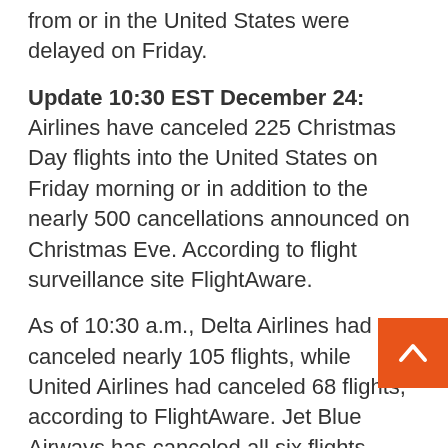from or in the United States were delayed on Friday.
Update 10:30 EST December 24: Airlines have canceled 225 Christmas Day flights into the United States on Friday morning or in addition to the nearly 500 cancellations announced on Christmas Eve. According to flight surveillance site FlightAware.
As of 10:30 a.m., Delta Airlines had canceled nearly 105 flights, while United Airlines had canceled 68 flights, according to FlightAware. Jet Blue Airways has canceled all six flights.
Update 10:05 am EST December 24: As of Friday morning, 475 flights to or from the United States had been canceled. According to flight surveillance sit FlightAware.
United Airlines canceled 172 flights. Delta Airlines